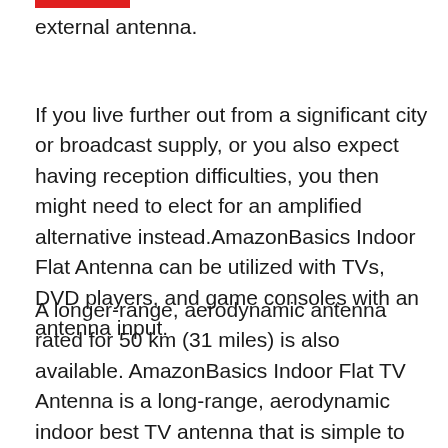external antenna.
If you live further out from a significant city or broadcast supply, or you also expect having reception difficulties, you then might need to elect for an amplified alternative instead.AmazonBasics Indoor Flat Antenna can be utilized with TVs, DVD players, and game consoles with an antenna input.
A longer-range, aerodynamic antenna rated for 50 km (31 miles) is also available. AmazonBasics Indoor Flat TV Antenna is a long-range, aerodynamic indoor best TV antenna that is simple to attach, plus it is designed with an attractive look that blends seamlessly into any décor.